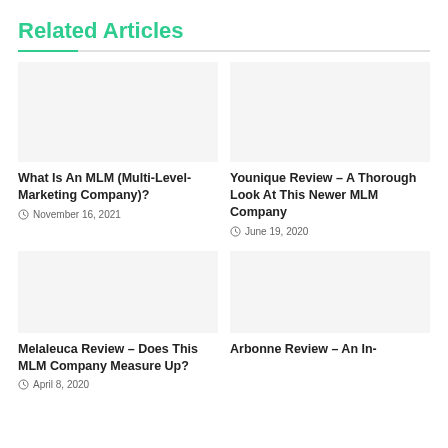Related Articles
What Is An MLM (Multi-Level-Marketing Company)?
November 16, 2021
Younique Review – A Thorough Look At This Newer MLM Company
June 19, 2020
Melaleuca Review – Does This MLM Company Measure Up?
April 8, 2020
Arbonne Review – An In-